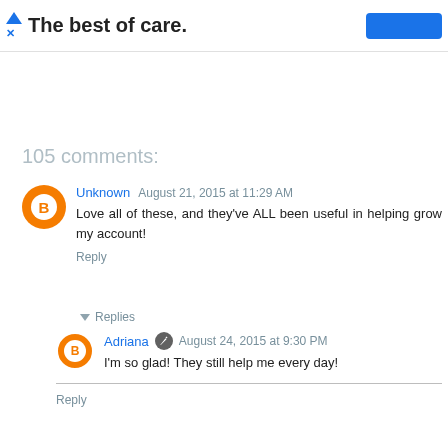The best of care.
105 comments:
Unknown  August 21, 2015 at 11:29 AM
Love all of these, and they've ALL been useful in helping grow my account!
Reply
Replies
Adriana  August 24, 2015 at 9:30 PM
I'm so glad! They still help me every day!
Reply